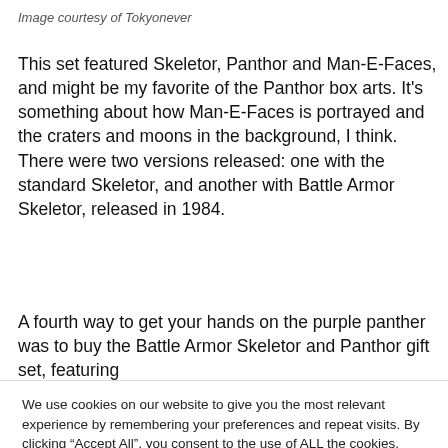Image courtesy of Tokyonever
This set featured Skeletor, Panthor and Man-E-Faces, and might be my favorite of the Panthor box arts. It’s something about how Man-E-Faces is portrayed and the craters and moons in the background, I think. There were two versions released: one with the standard Skeletor, and another with Battle Armor Skeletor, released in 1984.
A fourth way to get your hands on the purple panther was to buy the Battle Armor Skeletor and Panthor gift set, featuring
We use cookies on our website to give you the most relevant experience by remembering your preferences and repeat visits. By clicking “Accept All”, you consent to the use of ALL the cookies. However, you may visit "Cookie Settings" to provide a controlled consent.